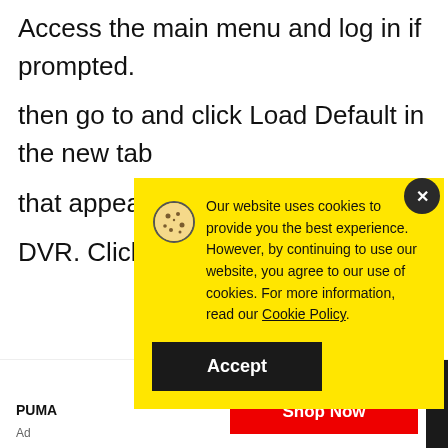Access the main menu and log in if prompted.
then go to and click Load Default in the new tab
that appears
DVR. Click C
[Figure (screenshot): Cookie consent popup overlay with yellow background. Contains cookie icon, text: 'Our website uses cookies to provide you the best experience. However, by continuing to use our website, you agree to our use of cookies. For more information, read our Cookie Policy.' with an Accept button. A dark close (x) button is in the top right corner.]
PUMA
Ad
[Figure (screenshot): Red Shop Now advertisement button at the bottom right of the page.]